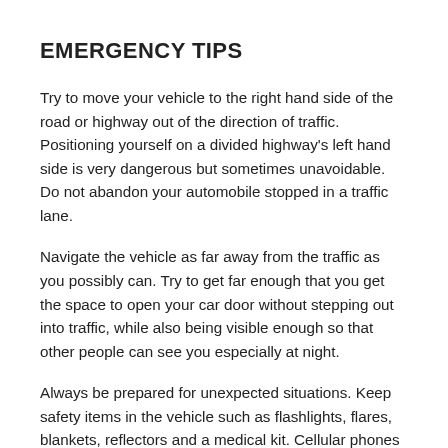EMERGENCY TIPS
Try to move your vehicle to the right hand side of the road or highway out of the direction of traffic. Positioning yourself on a divided highway's left hand side is very dangerous but sometimes unavoidable. Do not abandon your automobile stopped in a traffic lane.
Navigate the vehicle as far away from the traffic as you possibly can. Try to get far enough that you get the space to open your car door without stepping out into traffic, while also being visible enough so that other people can see you especially at night.
Always be prepared for unexpected situations. Keep safety items in the vehicle such as flashlights, flares, blankets, reflectors and a medical kit. Cellular phones in the vehicle are also the most valuable safety tool during emergence traffic situations.
RELIABLE SERVICE